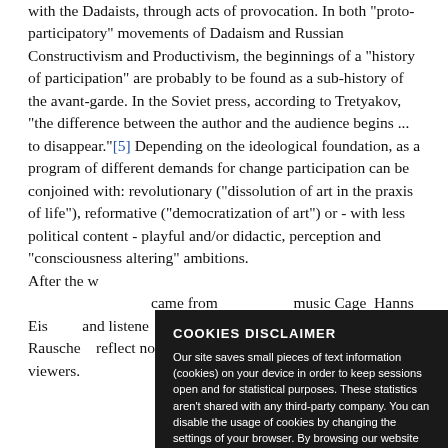with the Dadaists, through acts of provocation. In both "proto-participatory" movements of Dadaism and Russian Constructivism and Productivism, the beginnings of a "history of participation" are probably to be found as a sub-history of the avant-garde. In the Soviet press, according to Tretyakov, "the difference between the author and the audience begins ... to disappear."[5] Depending on the ideological foundation, as a program of different demands for change participation can be conjoined with: revolutionary ("dissolution of art in the praxis of life"), reformative ("democratization of art") or - with less political content - playful and/or didactic, perception and "consciousness altering" ambitions.
After the w... came from ... music Cage... Hanns Eis... and listene... noises in th... these noise... Rauschb... reflect nothing other than the movements of the viewers.
[Figure (screenshot): Cookie disclaimer overlay popup with dark background. Title: COOKIES DISCLAIMER. Body text about cookies usage and browsing consent. Green 'I AGREE' button at bottom right.]